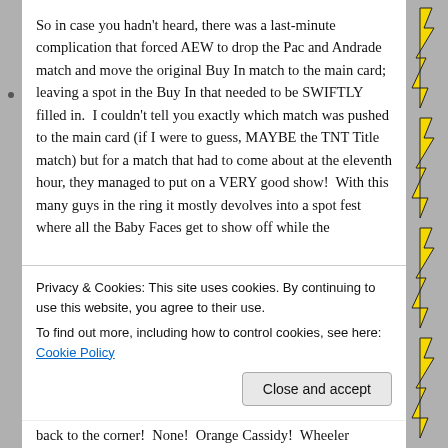So in case you hadn't heard, there was a last-minute complication that forced AEW to drop the Pac and Andrade match and move the original Buy In match to the main card; leaving a spot in the Buy In that needed to be SWIFTLY filled in.  I couldn't tell you exactly which match was pushed to the main card (if I were to guess, MAYBE the TNT Title match) but for a match that had to come about at the eleventh hour, they managed to put on a VERY good show!  With this many guys in the ring it mostly devolves into a spot fest where all the Baby Faces get to show off while the
Privacy & Cookies: This site uses cookies. By continuing to use this website, you agree to their use.
To find out more, including how to control cookies, see here: Cookie Policy
back to the corner!  None!  Orange Cassidy!  Wheeler